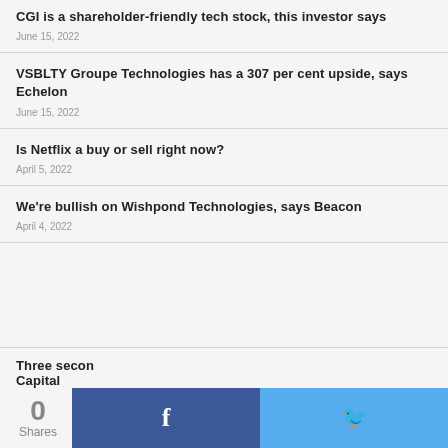CGI is a shareholder-friendly tech stock, this investor says
June 15, 2022
VSBLTY Groupe Technologies has a 307 per cent upside, says Echelon
June 15, 2022
Is Netflix a buy or sell right now?
April 5, 2022
We're bullish on Wishpond Technologies, says Beacon
April 4, 2022
Three secon Capital
0 Shares